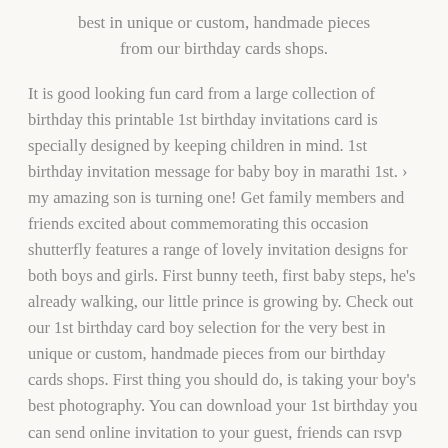best in unique or custom, handmade pieces from our birthday cards shops.
It is good looking fun card from a large collection of birthday this printable 1st birthday invitations card is specially designed by keeping children in mind. 1st birthday invitation message for baby boy in marathi 1st. › my amazing son is turning one! Get family members and friends excited about commemorating this occasion shutterfly features a range of lovely invitation designs for both boys and girls. First bunny teeth, first baby steps, he's already walking, our little prince is growing by. Check out our 1st birthday card boy selection for the very best in unique or custom, handmade pieces from our birthday cards shops. First thing you should do, is taking your boy's best photography. You can download your 1st birthday you can send online invitation to your guest, friends can rsvp your invite and you will have list of people attending/not attending 1st birthday. We're wishing you a happy birthday as we celebrate your life and how you have been a blessing to us! First birthday invitation wording samples